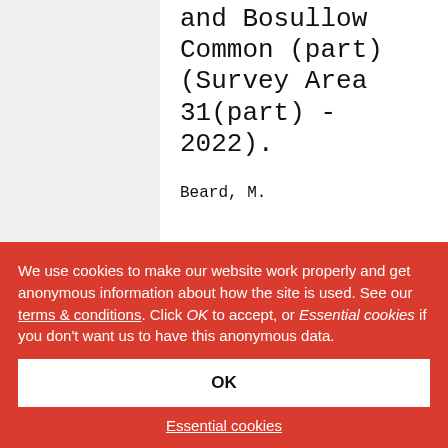and Bosullow Common (part) (Survey Area 31(part) - 2022).
Beard, M.
READ MORE
We use cookies to make our website work properly and get anonymous information about how the site is used. See our terms & conditions. Click OK to accept, or Essential cookies if you don't want us to have this anonymous data.
OK
Essential cookies